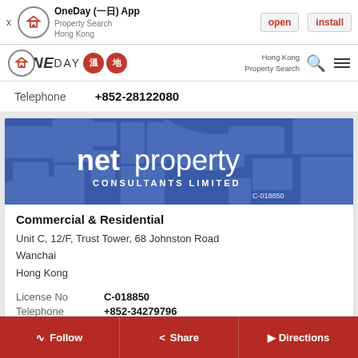[Figure (screenshot): App install banner for OneDay (一日) App - Property Search Hong Kong, with open and install buttons]
[Figure (logo): OneDay property search Hong Kong navigation bar with logo, search icon, and menu]
Telephone +852-28122080
[Figure (logo): Net Property Consultants Limited banner image with blue map background and license number C-018850]
Commercial & Residential
Unit C, 12/F, Trust Tower, 68 Johnston Road
Wanchai
Hong Kong
License No C-018850
Telephone +852-34279796